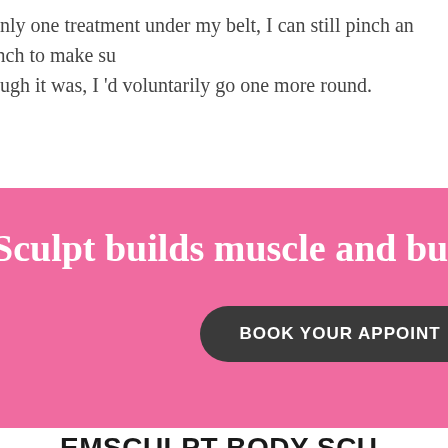only one treatment under my belt, I can still pinch an inch to make sure... though it was, I 'd voluntarily go one more round.
[Figure (infographic): Pink banner with white bold text reading 'Sculpt builds muscle and burns fat' and a dark rounded button with text 'BOOK YOUR APPOINT...']
EMSCULPT BODY SCU...
UK is the most recent power based modern technology that construc... c field that goes through the skin to influence muscle tissue in addition...